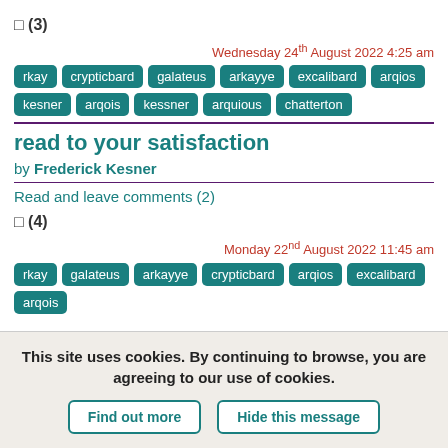☐ (3)
Wednesday 24th August 2022 4:25 am
rkay crypticbard galateus arkayye excalibard arqios kesner arqois kessner arquious chatterton
read to your satisfaction
by Frederick Kesner
Read and leave comments (2)
☐ (4)
Monday 22nd August 2022 11:45 am
rkay galateus arkayye crypticbard arqios excalibard arqois
This site uses cookies. By continuing to browse, you are agreeing to our use of cookies.
Find out more | Hide this message